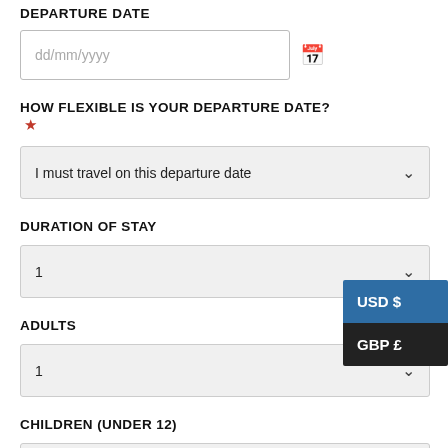DEPARTURE DATE
dd/mm/yyyy
HOW FLEXIBLE IS YOUR DEPARTURE DATE?
I must travel on this departure date
DURATION OF STAY
1
ADULTS
1
CHILDREN (UNDER 12)
0
[Figure (screenshot): Currency dropdown popup showing USD $ (highlighted blue) and GBP £ (dark background) options]